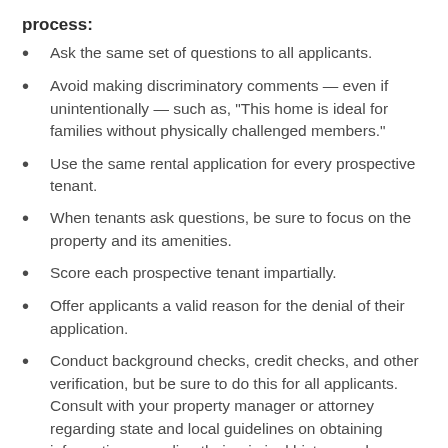process:
Ask the same set of questions to all applicants.
Avoid making discriminatory comments — even if unintentionally — such as, “This home is ideal for families without physically challenged members.”
Use the same rental application for every prospective tenant.
When tenants ask questions, be sure to focus on the property and its amenities.
Score each prospective tenant impartially.
Offer applicants a valid reason for the denial of their application.
Conduct background checks, credit checks, and other verification, but be sure to do this for all applicants. Consult with your property manager or attorney regarding state and local guidelines on obtaining information regarding their criminal history and sex offender registry